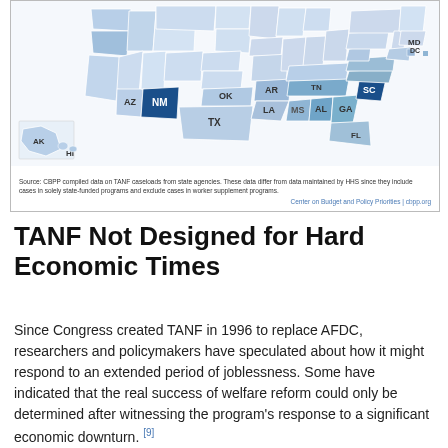[Figure (map): US map showing state-level TANF caseload data with states shaded in varying shades of blue; NM and SC appear darkest. State abbreviations labeled: AZ, NM, OK, AR, MS, LA, AL, GA, TN, SC, MD, DC, FL, TX, AK, HI.]
Source: CBPP compiled data on TANF caseloads from state agencies. These data differ from data maintained by HHS since they include cases in solely state-funded programs and exclude cases in worker supplement programs.
Center on Budget and Policy Priorities | cbpp.org
TANF Not Designed for Hard Economic Times
Since Congress created TANF in 1996 to replace AFDC, researchers and policymakers have speculated about how it might respond to an extended period of joblessness. Some have indicated that the real success of welfare reform could only be determined after witnessing the program's response to a significant economic downturn.[9]
AFDC protected states from the full economic costs of